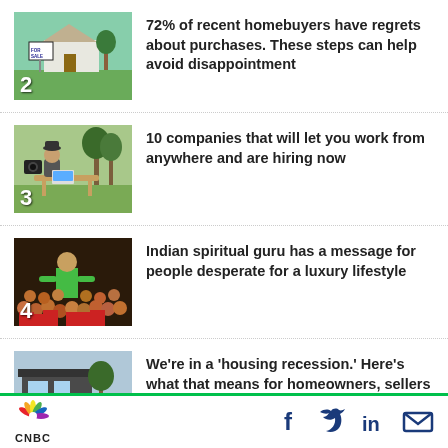[Figure (photo): For Sale sign in front of a house]
72% of recent homebuyers have regrets about purchases. These steps can help avoid disappointment
[Figure (photo): Person working on laptop outdoors in nature]
10 companies that will let you work from anywhere and are hiring now
[Figure (photo): Indian spiritual guru speaking to a large crowd]
Indian spiritual guru has a message for people desperate for a luxury lifestyle
[Figure (photo): House exterior with a for sale sign]
We're in a 'housing recession.' Here's what that means for homeowners, sellers and buyers
CNBC — with social media icons for Facebook, Twitter, LinkedIn, Email